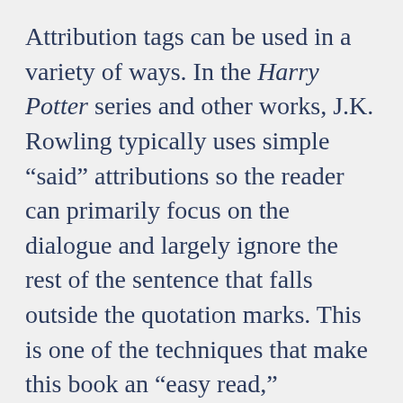Attribution tags can be used in a variety of ways. In the Harry Potter series and other works, J.K. Rowling typically uses simple “said” attributions so the reader can primarily focus on the dialogue and largely ignore the rest of the sentence that falls outside the quotation marks. This is one of the techniques that make this book an “easy read,” especially for children.
Meanwhile, in books like Outlander, Diana Gabaldon focuses on including action within her dialogue so that as the reader goes along through the narrative